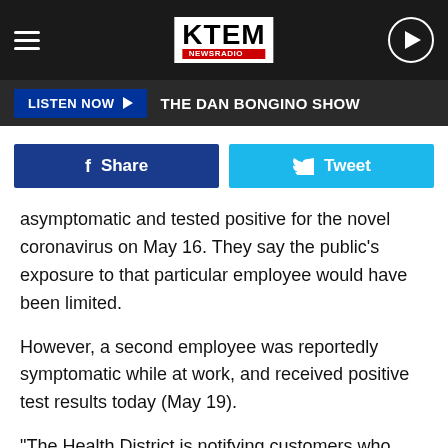KTEM NEWSRADIO | THE DAN BONGINO SHOW
LISTEN NOW  THE DAN BONGINO SHOW
Share  Tweet
asymptomatic and tested positive for the novel coronavirus on May 16. They say the public's exposure to that particular employee would have been limited.
However, a second employee was reportedly symptomatic while at work, and received positive test results today (May 19).
"The Health District is notifying customers who ordered from the restaurant as early as May 15 due of possible exposure that may not have been contained to the facility," District officials said Tuesday.